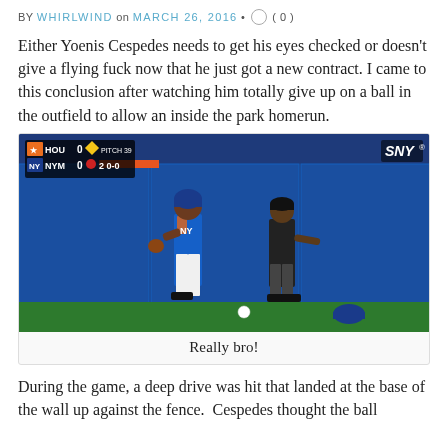BY WHIRLWIND on MARCH 26, 2016 • ( 0 )
Either Yoenis Cespedes needs to get his eyes checked or doesn't give a flying fuck now that he just got a new contract. I came to this conclusion after watching him totally give up on a ball in the outfield to allow an inside the park homerun.
[Figure (photo): Screenshot of a baseball game broadcast on SNY showing a Mets outfielder standing near the outfield wall next to an umpire, with the ball on the ground. Scoreboard shows HOU 0, NYM 0, PITCH 39, 2 0-0.]
Really bro!
During the game, a deep drive was hit that landed at the base of the wall up against the fence.  Cespedes thought the ball